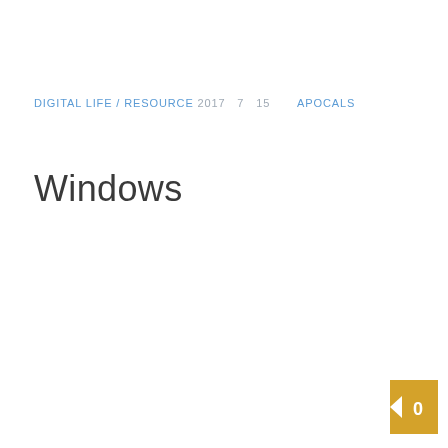DIGITAL LIFE / RESOURCE  2017  7  15       APOCALS
Windows
[Figure (other): Orange/gold square button with a left-pointing arrow and the number 0, positioned at bottom-right corner]